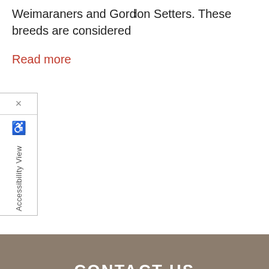Weimaraners and Gordon Setters. These breeds are considered
Read more
[Figure (screenshot): Accessibility View sidebar widget with X close button, wheelchair accessibility icon, and 'Accessibility View' vertical text label on left side of page]
CONTACT US
Get in Touch
LOCATION
Find us on the map
[Figure (map): Map showing Lolo area with roads and terrain, zoom controls visible in lower left]